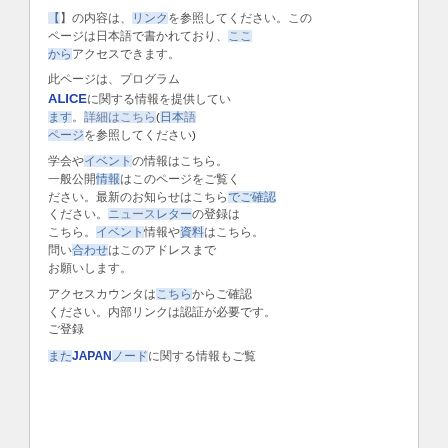[Japanese text paragraph with hyperlinks - paragraph 1]
[Japanese text paragraph with ALICE reference and hyperlinks]
[Japanese text paragraph with multiple hyperlinks]
[Japanese text paragraph with hyperlinks and JAPAN reference]